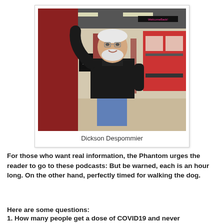[Figure (photo): A man with white hair and beard wearing a black blazer and jeans, leaning against a red pillar at what appears to be a New York City subway station (34th Street). A subway train is visible in the background.]
Dickson Despommier
For those who want real information, the Phantom urges the reader to go to these podcasts: But be warned, each is an hour long. On the other hand, perfectly timed for walking the dog.
Here are some questions:
1. How many people get a dose of COVID19 and never